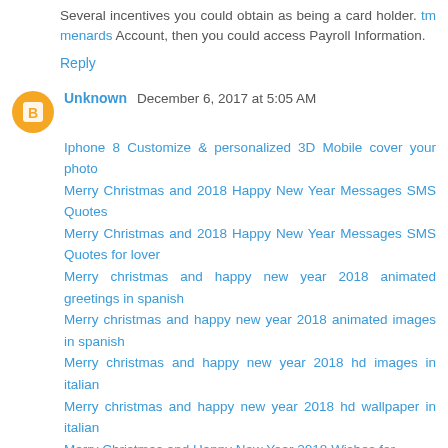Several incentives you could obtain as being a card holder. tm menards Account, then you could access Payroll Information.
Reply
Unknown December 6, 2017 at 5:05 AM
Iphone 8 Customize & personalized 3D Mobile cover your photo
Merry Christmas and 2018 Happy New Year Messages SMS Quotes
Merry Christmas and 2018 Happy New Year Messages SMS Quotes for lover
Merry christmas and happy new year 2018 animated greetings in spanish
Merry christmas and happy new year 2018 animated images in spanish
Merry christmas and happy new year 2018 hd images in italian
Merry christmas and happy new year 2018 hd wallpaper in italian
Merry Christmas and Happy New Year 2018 Wishes for